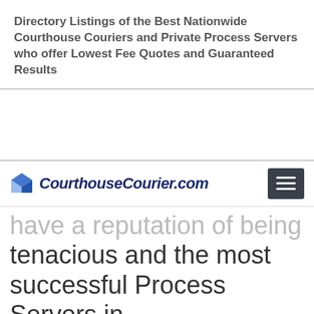Directory Listings of the Best Nationwide Courthouse Couriers and Private Process Servers who offer Lowest Fee Quotes and Guaranteed Results
CourthouseCourier.com
have a reputation of being tenacious and the most successful Process Servers in Manchester Connecticut and throughout all cities in the nation.
The services we provide in Manchester all relate to expediting